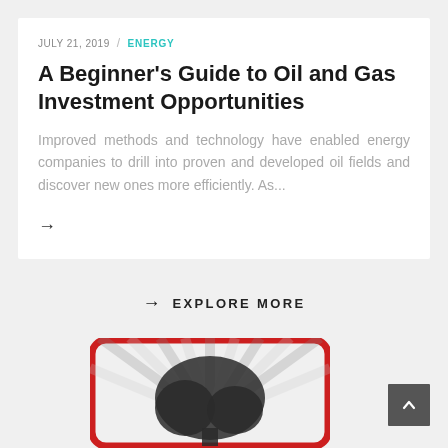JULY 21, 2019 / ENERGY
A Beginner's Guide to Oil and Gas Investment Opportunities
Improved methods and technology have enabled energy companies to drill into proven and developed oil fields and discover new ones more efficiently. As...
→
→ EXPLORE MORE
[Figure (illustration): Partially visible illustration at bottom of page showing a stylized image with red rounded-rectangle border, radiating gray stripes, and a dark tree/plant silhouette in the center]